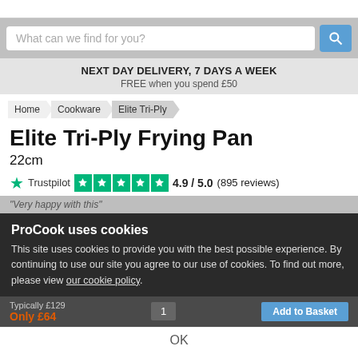What can we find for you?
NEXT DAY DELIVERY, 7 DAYS A WEEK
FREE when you spend £50
Home > Cookware > Elite Tri-Ply
Elite Tri-Ply Frying Pan
22cm
Trustpilot 4.9 / 5.0 (895 reviews)
"Very happy with this"
ProCook uses cookies
This site uses cookies to provide you with the best possible experience. By continuing to use our site you agree to our use of cookies. To find out more, please view our cookie policy.
Typically £129
Only £64
OK